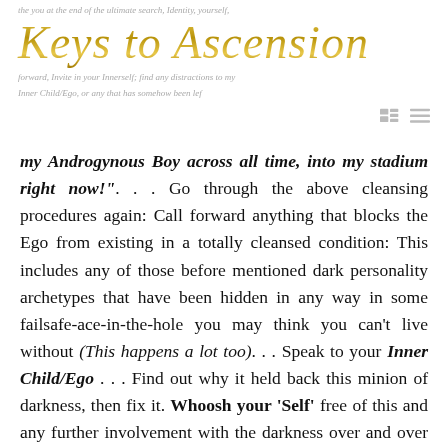Keys to Ascension
my Androgynous Boy across all time, into my stadium right now!" . . . Go through the above cleansing procedures again: Call forward anything that blocks the Ego from existing in a totally cleansed condition: This includes any of those before mentioned dark personality archetypes that have been hidden in any way in some failsafe-ace-in-the-hole you may think you can't live without (This happens a lot too). . . Speak to your Inner Child/Ego . . . Find out why it held back this minion of darkness, then fix it. Whoosh your 'Self' free of this and any further involvement with the darkness over and over again until the Inner Child/Ego is restored to a brilliant light being, smiling and ready to move on in your search